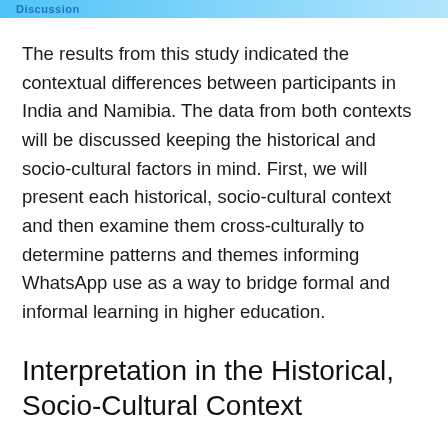Discussion
The results from this study indicated the contextual differences between participants in India and Namibia. The data from both contexts will be discussed keeping the historical and socio-cultural factors in mind. First, we will present each historical, socio-cultural context and then examine them cross-culturally to determine patterns and themes informing WhatsApp use as a way to bridge formal and informal learning in higher education.
Interpretation in the Historical, Socio-Cultural Context